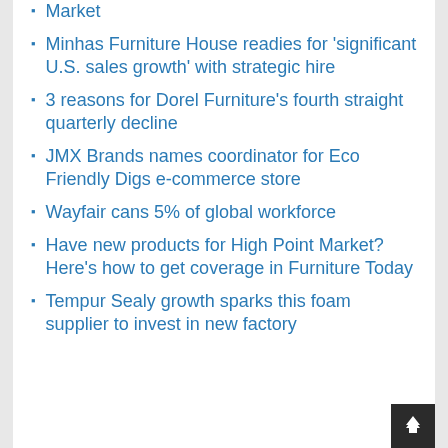Market
Minhas Furniture House readies for 'significant U.S. sales growth' with strategic hire
3 reasons for Dorel Furniture's fourth straight quarterly decline
JMX Brands names coordinator for Eco Friendly Digs e-commerce store
Wayfair cans 5% of global workforce
Have new products for High Point Market? Here's how to get coverage in Furniture Today
Tempur Sealy growth sparks this foam supplier to invest in new factory